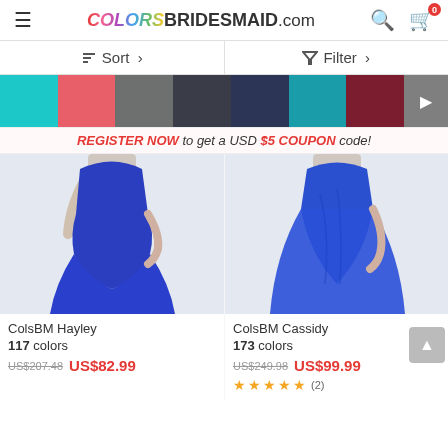COLORSBRIDESMAID.com
Sort  Filter
[Figure (other): Row of color swatches: cyan, coral/red, gray, dark charcoal, navy, teal, maroon/burgundy, dark maroon with arrow]
REGISTER NOW to get a USD $5 COUPON code!
[Figure (photo): ColsBM Hayley bridesmaid dress in royal blue, mermaid style, full length]
[Figure (photo): ColsBM Cassidy bridesmaid dress in royal blue, A-line style, full length with floral detail at waist]
ColsBM Hayley
117 colors
US$207.48  US$82.99
ColsBM Cassidy
173 colors
US$249.98  US$99.99
★★★★★ (2)